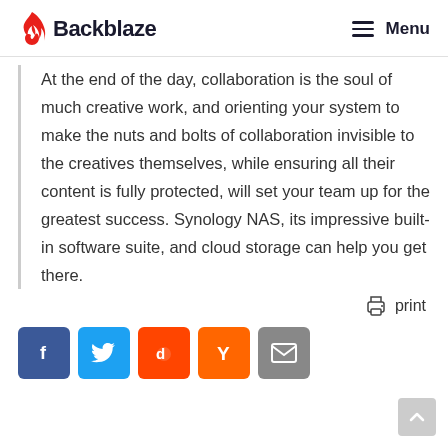Backblaze — Menu
At the end of the day, collaboration is the soul of much creative work, and orienting your system to make the nuts and bolts of collaboration invisible to the creatives themselves, while ensuring all their content is fully protected, will set your team up for the greatest success. Synology NAS, its impressive built-in software suite, and cloud storage can help you get there.
print
[Figure (infographic): Social sharing buttons: Facebook (blue), Twitter (light blue), Reddit (orange-red), Hacker News (orange), Email (gray)]